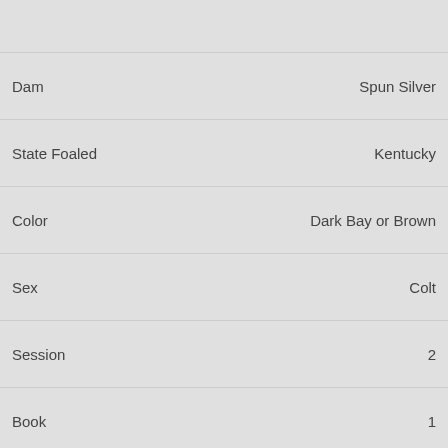|  |  |
| Dam | Spun Silver |
| State Foaled | Kentucky |
| Color | Dark Bay or Brown |
| Sex | Colt |
| Session | 2 |
| Book | 1 |
| Hip | 463 |
| Sire | Lea |
|  |  |
| Dam | Summer Cruise |
| State Foaled | Kentucky |
| Color | Chestnut |
| Sex | Filly |